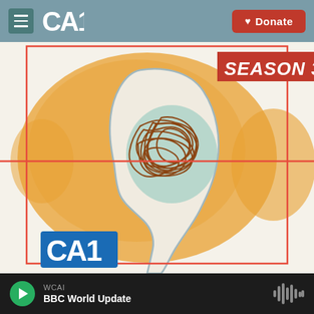CAI navigation bar with hamburger menu, CAI logo, and Donate button
[Figure (illustration): Illustration of a human head silhouette in profile with a brain depicted as tangled brown lines inside, on a mint/teal background. An orange blob radiates behind the head. A red horizontal line crosses the image. A red border rectangle frames much of the image. 'SEASON 3' badge in red top right. CAI logo bottom left.]
The Forgetting
WCAI BBC World Update (player bar with play button and waveform icon)